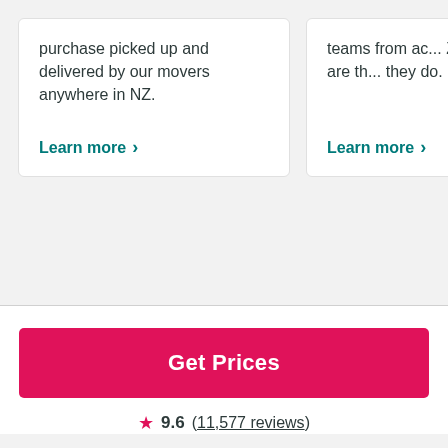purchase picked up and delivered by our movers anywhere in NZ.
Learn more ›
teams from ac... Zealand are th... they do.
Learn more ›
Get Prices
9.6 (11,577 reviews)